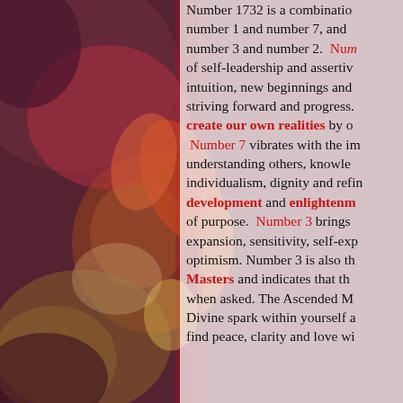[Figure (illustration): Abstract floral watercolor background in warm reds, oranges, yellows, and purples occupying the left half of the page and bleeding into the right text area.]
Number 1732 is a combination of number 1 and number 7, and number 3 and number 2. Number [1] carries the energies of self-leadership and assertiveness, intuition, new beginnings and striving forward and progress. We create our own realities by our... Number 7 vibrates with the influences of understanding others, knowledge, individualism, dignity and refinement, development and enlightenment... of purpose. Number 3 brings expansion, sensitivity, self-expression, optimism. Number 3 is also the... Masters and indicates that the... when asked. The Ascended M... Divine spark within yourself a... find peace, clarity and love wi...